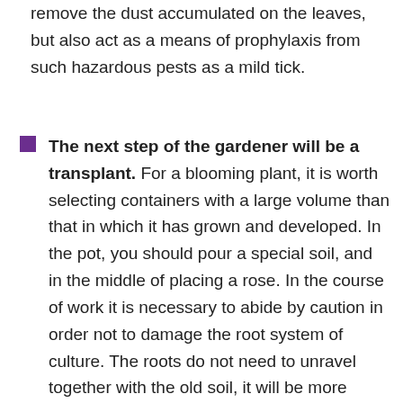remove the dust accumulated on the leaves, but also act as a means of prophylaxis from such hazardous pests as a mild tick.
The next step of the gardener will be a transplant. For a blooming plant, it is worth selecting containers with a large volume than that in which it has grown and developed. In the pot, you should pour a special soil, and in the middle of placing a rose. In the course of work it is necessary to abide by caution in order not to damage the root system of culture. The roots do not need to unravel together with the old soil, it will be more correct to put the flower along with an earthen room, and on top of sprinkle with new earth. Also before rooting it is worth considering how many independent bushes are located in a pot, because very often for abundant flowering, store roses root in one container at once a few pieces.